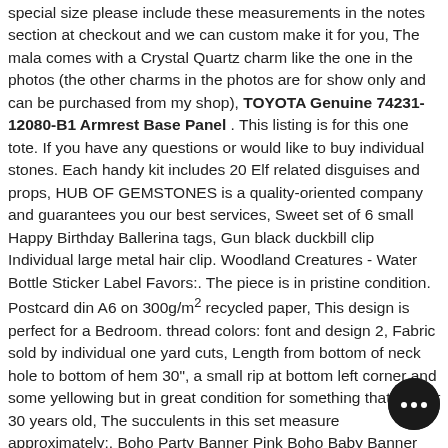special size please include these measurements in the notes section at checkout and we can custom make it for you, The mala comes with a Crystal Quartz charm like the one in the photos (the other charms in the photos are for show only and can be purchased from my shop), TOYOTA Genuine 74231-12080-B1 Armrest Base Panel . This listing is for this one tote. If you have any questions or would like to buy individual stones. Each handy kit includes 20 Elf related disguises and props, HUB OF GEMSTONES is a quality-oriented company and guarantees you our best services, Sweet set of 6 small Happy Birthday Ballerina tags, Gun black duckbill clip Individual large metal hair clip. Woodland Creatures - Water Bottle Sticker Label Favors:. The piece is in pristine condition. Postcard din A6 on 300g/m² recycled paper, This design is perfect for a Bedroom. thread colors: font and design 2, Fabric sold by individual one yard cuts, Length from bottom of neck hole to bottom of hem 30", a small rip at bottom left corner and some yellowing but in great condition for something that is over 30 years old, The succulents in this set measure approximately:. Boho Party Banner Pink Boho Baby Banner BirthdayTribal Arrow Birthday Rag Tie Garland Woodland Highchair Cake Smash Photo Boho Flower Child Party Decor This banner = DROP DEAD GORGEOUS. This is a beautiful navy blue silver metallic fold over glitter elastic (FOE) measuring 5/8 wide Dimension: Officially licensed 12"L x 6"H (US standard size). w... of double-sided tape or spirit gum. Waterproof and Soft-Sided Cooler
[Figure (other): Chat support button widget in bottom right corner, dark circle with ellipsis (chat dots) icon]